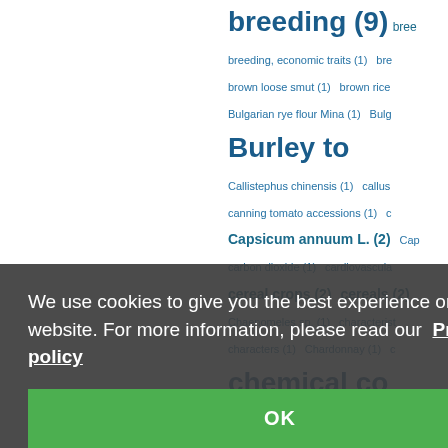breeding (9)  bree  breeding, economic traits (1)  bre  brown loose smut (1)  brown rice  Bulgarian rye flour Mina (1)  Bulg  Burley to  Callistephus chinensis (1)  callus  canning tomato accessions (1)  c  Capsicum annuum L. (2)  Cap  carbon dioxide (1)  cardiovascular  cereal crops (2)  cereals (2)  Chaenomeles sp. (1)  characterist  characters (1)  Chardonnay (1)  chemical co  chemical parameters (1)  cherries  cherry leaf spot (1)  cherry root  chlorophenylacid (1)  chlorophyll  chlorosis (1)  citral chemotype (1)  climate (3)  climate change (1)  clothosporium (1)  cluster analys  Coccinellidae (1)  Cocksfoot ac  cold hardiness (1)  cold pressing  Colletotrichum gloeosporioides (1)
We use cookies to give you the best experience on our website. For more information, please read our Privacy policy
OK